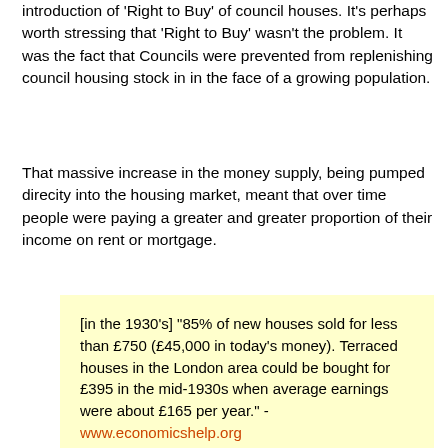introduction of 'Right to Buy' of council houses. It's perhaps worth stressing that 'Right to Buy' wasn't the problem. It was the fact that Councils were prevented from replenishing council housing stock in in the face of a growing population.
That massive increase in the money supply, being pumped direcity into the housing market, meant that over time people were paying a greater and greater proportion of their income on rent or mortgage.
[in the 1930's] "85% of new houses sold for less than £750 (£45,000 in today's money). Terraced houses in the London area could be bought for £395 in the mid-1930s when average earnings were about £165 per year." - www.economicshelp.org

Imagine being able to buy a house, in London, for less than three times the anual salary of one person.